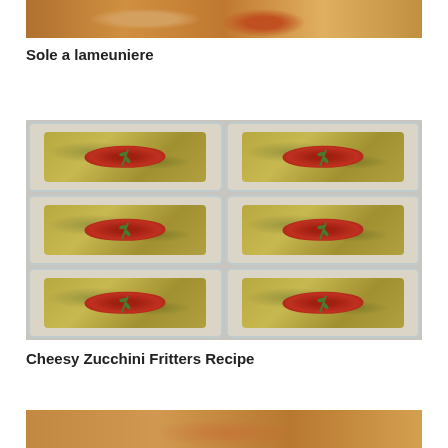[Figure (photo): Top portion of a food dish photo, partially cropped - appears to be a fish dish with herbs and sauce]
Sole a lameuniere
[Figure (photo): Overhead view of multiple glass meal prep containers filled with cheesy zucchini fritters topped with tomato sauce and fresh rosemary sprigs, arranged in a grid]
Cheesy Zucchini Fritters Recipe
[Figure (photo): Bottom portion of another food photo, partially cropped]